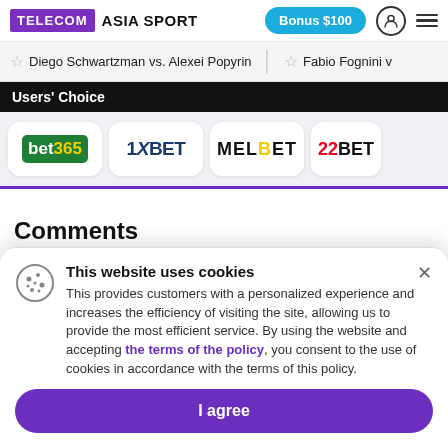TELECOM ASIA SPORT | Bonus $100
Diego Schwartzman vs. Alexei Popyrin   Fabio Fognini v
Users' Choice
[Figure (logo): Bookmaker logos row: bet365, 1XBET, MELBET, 22BET]
Comments
This website uses cookies
This provides customers with a personalized experience and increases the efficiency of visiting the site, allowing us to provide the most efficient service. By using the website and accepting the terms of the policy, you consent to the use of cookies in accordance with the terms of this policy.
I agree